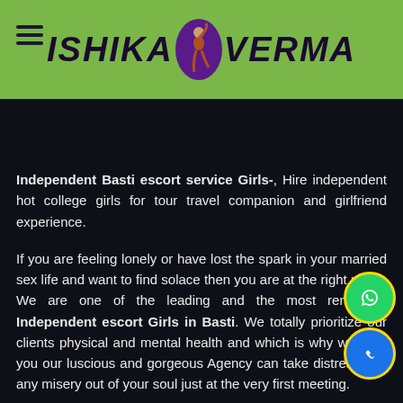ISHIKA VERMA
Independent Basti escort service Girls-, Hire independent hot college girls for tour travel companion and girlfriend experience.
If you are feeling lonely or have lost the spark in your married sex life and want to find solace then you are at the right place. We are one of the leading and the most renowned Independent escort Girls in Basti. We totally prioritize our clients physical and mental health and which is why we offer you our luscious and gorgeous Agency can take distress and any misery out of your soul just at the very first meeting.